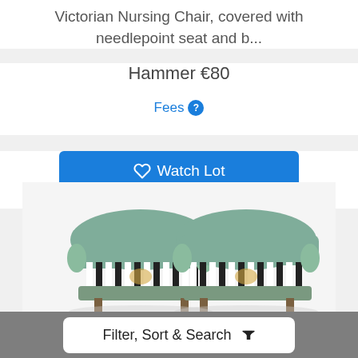Victorian Nursing Chair, covered with needlepoint seat and b...
Hammer €80
Fees ?
Watch Lot
[Figure (photo): Two green/teal upholstered barrel chairs with black and white striped fabric visible through the slatted wooden backs, photographed from the front on a light background.]
Filter, Sort & Search